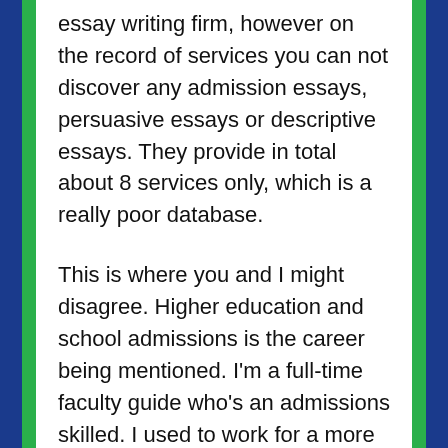essay writing firm, however on the record of services you can not discover any admission essays, persuasive essays or descriptive essays. They provide in total about 8 services only, which is a really poor database.
This is where you and I might disagree. Higher education and school admissions is the career being mentioned. I'm a full-time faculty guide who's an admissions skilled. I used to work for a more selective university before going unbiased. I, too, have in depth expertise with enhancing, writing, and communication. In that manner, I have the attitude of counselor with the ability set of an editor.